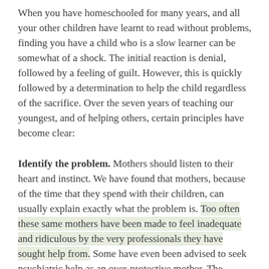When you have homeschooled for many years, and all your other children have learnt to read without problems, finding you have a child who is a slow learner can be somewhat of a shock. The initial reaction is denial, followed by a feeling of guilt. However, this is quickly followed by a determination to help the child regardless of the sacrifice. Over the seven years of teaching our youngest, and of helping others, certain principles have become clear:
Identify the problem. Mothers should listen to their heart and instinct. We have found that mothers, because of the time that they spend with their children, can usually explain exactly what the problem is. Too often these same mothers have been made to feel inadequate and ridiculous by the very professionals they have sought help from. Some have even been advised to seek psychiatric help as an over-protective mother. The problem is not the mother, it is the child's learning ability and will only become worse the longer it is left.
Remove, where possible, any contributing factors. Our food is no longer natural. It contains remnants of sprays,